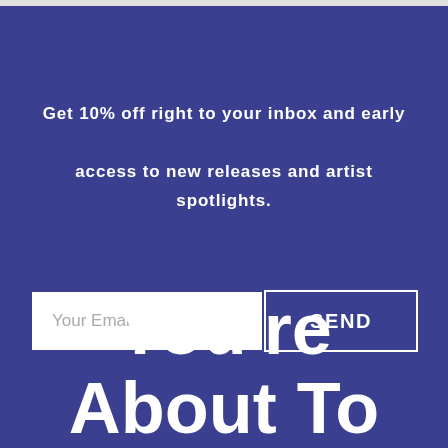Get 10% off right to your inbox and early access to new releases and artist spotlights.
Your Email
SEND
You're About To